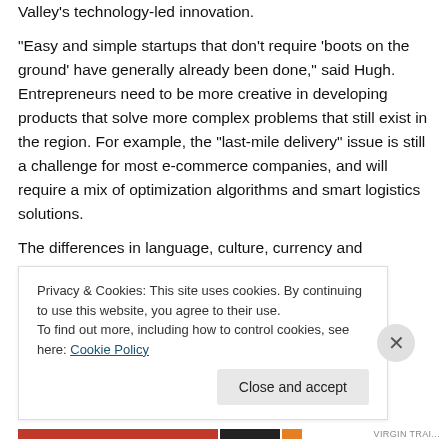Valley's technology-led innovation.
“Easy and simple startups that don’t require ‘boots on the ground’ have generally already been done,” said Hugh. Entrepreneurs need to be more creative in developing products that solve more complex problems that still exist in the region. For example, the “last-mile delivery” issue is still a challenge for most e-commerce companies, and will require a mix of optimization algorithms and smart logistics solutions.
The differences in language, culture, currency and
Privacy & Cookies: This site uses cookies. By continuing to use this website, you agree to their use.
To find out more, including how to control cookies, see here: Cookie Policy